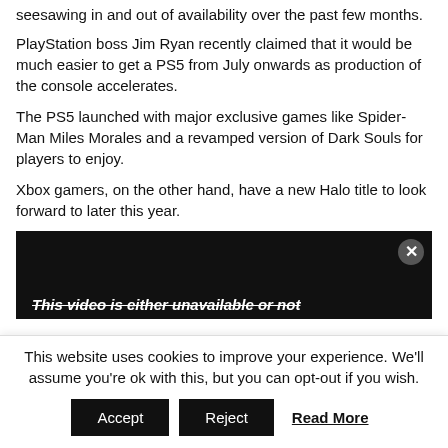seesawing in and out of availability over the past few months.
PlayStation boss Jim Ryan recently claimed that it would be much easier to get a PS5 from July onwards as production of the console accelerates.
The PS5 launched with major exclusive games like Spider-Man Miles Morales and a revamped version of Dark Souls for players to enjoy.
Xbox gamers, on the other hand, have a new Halo title to look forward to later this year.
[Figure (screenshot): Video player with dark background showing close button (x) and partial text 'This video is either unavailable or not']
This website uses cookies to improve your experience. We'll assume you're ok with this, but you can opt-out if you wish. Accept Reject Read More